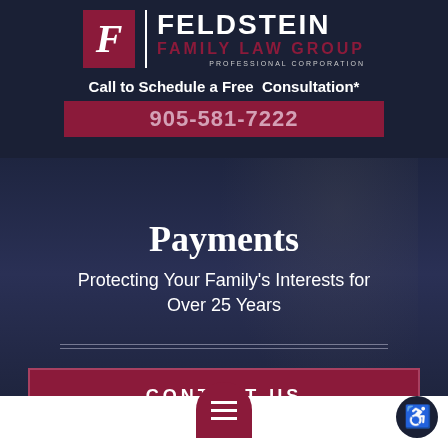[Figure (logo): Feldstein Family Law Group Professional Corporation logo — dark red F in box, text to right]
Call to Schedule a Free Consultation*
905-581-7222
Payments
Protecting Your Family's Interests for Over 25 Years
CONTACT US